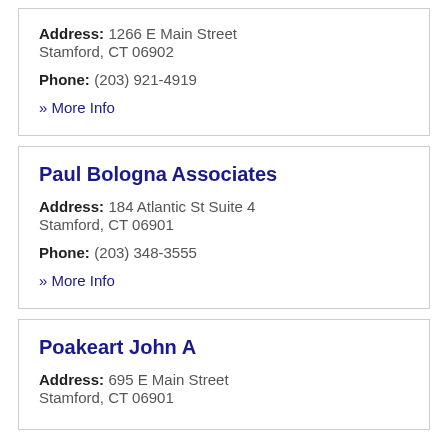Address: 1266 E Main Street Stamford, CT 06902
Phone: (203) 921-4919
» More Info
Paul Bologna Associates
Address: 184 Atlantic St Suite 4 Stamford, CT 06901
Phone: (203) 348-3555
» More Info
Poakeart John A
Address: 695 E Main Street Stamford, CT 06901